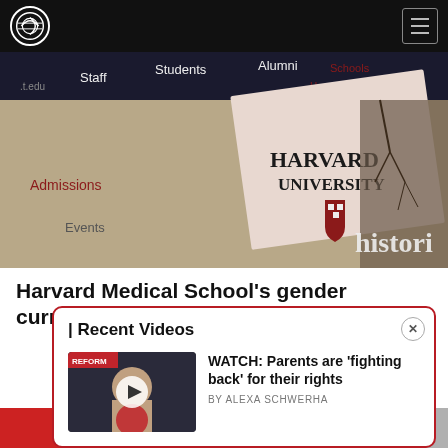Navigation bar with logo and hamburger menu
[Figure (photo): Harvard University website screenshot showing navigation menu with Staff, Students, Alumni, Admissions, Events tabs and Harvard University shield logo, overlaid on tree branches photo with 'histori' text visible]
Harvard Medical School's gender curriculum part of D
| Recent Videos
[Figure (photo): Video thumbnail showing a woman with text 'REFORM' visible, with circular play button overlay]
WATCH: Parents are 'fighting back' for their rights
BY ALEXA SCHWERHA
[Figure (photo): Bottom strip showing partial thumbnails of additional content items]